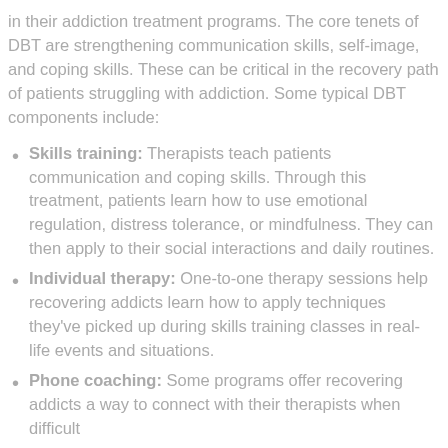in their addiction treatment programs. The core tenets of DBT are strengthening communication skills, self-image, and coping skills. These can be critical in the recovery path of patients struggling with addiction. Some typical DBT components include:
Skills training: Therapists teach patients communication and coping skills. Through this treatment, patients learn how to use emotional regulation, distress tolerance, or mindfulness. They can then apply to their social interactions and daily routines.
Individual therapy: One-to-one therapy sessions help recovering addicts learn how to apply techniques they've picked up during skills training classes in real-life events and situations.
Phone coaching: Some programs offer recovering addicts a way to connect with their therapists when difficult